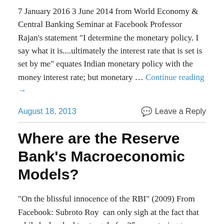7 January 2016 3 June 2014 from World Economy & Central Banking Seminar at Facebook Professor Rajan's statement "I determine the monetary policy. I say what it is....ultimately the interest rate that is set is set by me" equates Indian monetary policy with the money interest rate; but monetary … Continue reading →
August 18, 2013
Leave a Reply
Where are the Reserve Bank's Macroeconomic Models?
"On the blissful innocence of the RBI" (2009) From Facebook: Subroto Roy  can only sigh at the fact that while he has had to struggle for 35 years trying to grasp